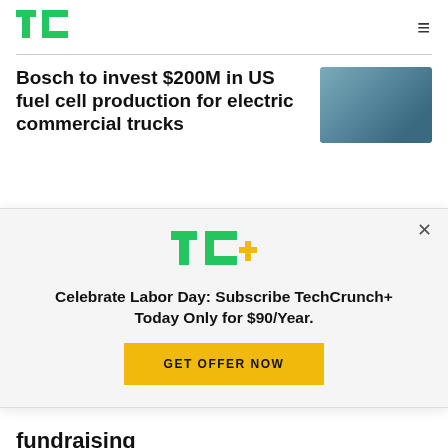TC (TechCrunch logo) | hamburger menu
Bosch to invest $200M in US fuel cell production for electric commercial trucks
[Figure (photo): Photo of Bosch fuel cell stack hardware with green circular symbol]
[Figure (logo): TechCrunch+ logo (TC+ in green and yellow)]
Celebrate Labor Day: Subscribe TechCrunch+ Today Only for $90/Year.
GET OFFER NOW
fundraising
Masha Bucher
6:00 PM UTC • August 31, 2022